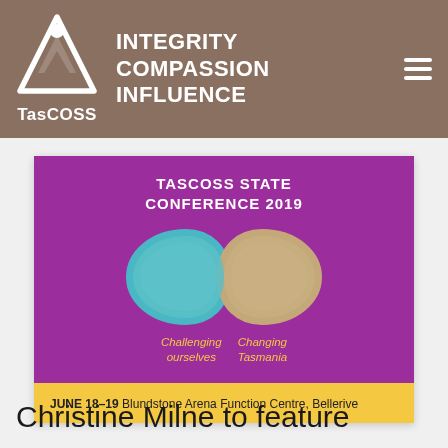TasCOSS — INTEGRITY COMPASSION INFLUENCE
[Figure (infographic): TasCOSS State Conference 2019 promotional banner. Purple background with infinity symbol (teal/sky left half, gold/beige right half). Yellow banner below reading JUNE 18-19 Blundstone Arena Function Centre, Bellerive. Subtext: Challenging ourselves / Changing Tasmania in gold italic.]
Christine Milne to feature